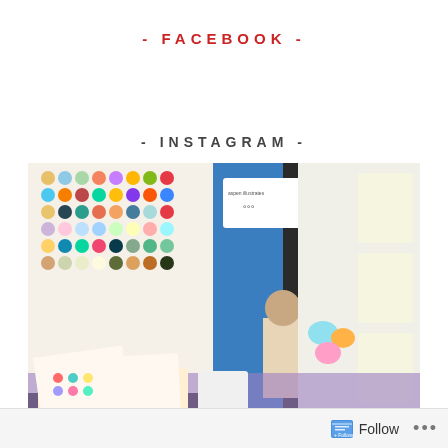- FACEBOOK -
- INSTAGRAM -
[Figure (photo): A woman standing behind a craft/art convention booth called 'aspen illustrates', displaying colorful enamel pins, sticker sheets, plush toys, embroidered bags, and various art merchandise on display boards and tables.]
Follow ...